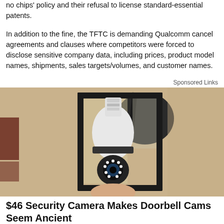no chips' policy and their refusal to license standard-essential patents.
In addition to the fine, the TFTC is demanding Qualcomm cancel agreements and clauses where competitors were forced to disclose sensitive company data, including prices, product model names, shipments, sales targets/volumes, and customer names.
Sponsored Links
[Figure (photo): A security camera shaped like a light bulb installed inside an outdoor wall-mounted black lantern fixture against a textured stucco wall.]
$46 Security Camera Makes Doorbell Cams Seem Ancient